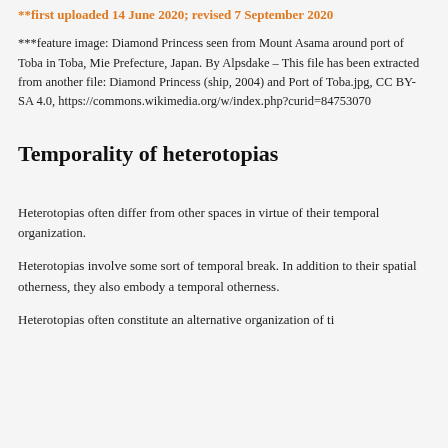**first uploaded 14 June 2020; revised 7 September 2020
***feature image: Diamond Princess seen from Mount Asama around port of Toba in Toba, Mie Prefecture, Japan. By Alpsdake – This file has been extracted from another file: Diamond Princess (ship, 2004) and Port of Toba.jpg, CC BY-SA 4.0, https://commons.wikimedia.org/w/index.php?curid=84753070
Temporality of heterotopias 〔〔〔〔〔〔〔
Heterotopias often differ from other spaces in virtue of their temporal organization.
Heterotopias involve some sort of temporal break. In addition to their spatial otherness, they also embody a temporal otherness.
Heterotopias often constitute an alternative organization of ti...